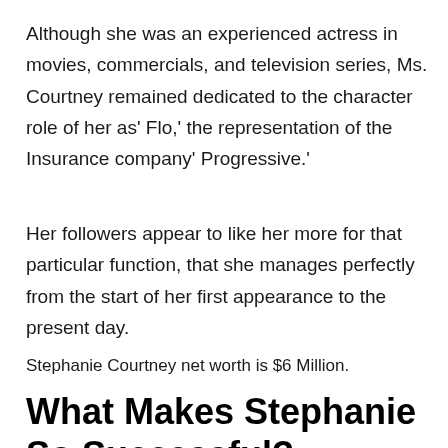Although she was an experienced actress in movies, commercials, and television series, Ms. Courtney remained dedicated to the character role of her as' Flo,' the representation of the Insurance company' Progressive.'
Her followers appear to like her more for that particular function, that she manages perfectly from the start of her first appearance to the present day.
Stephanie Courtney net worth is $6 Million.
What Makes Stephanie So Successful?